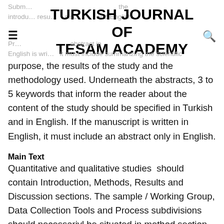TURKISH JOURNAL OF TESAM ACADEMY
purpose, the results of the study and the methodology used. Underneath the abstracts, 3 to 5 keywords that inform the reader about the content of the study should be specified in Turkish and in English. If the manuscript is written in English, it must include an abstract only in English.
Main Text
Quantitative and qualitative studies  should contain Introduction, Methods, Results and Discussion sections. The sample / Working Group, Data Collection Tools and Process subdivisions should necessariyl be situated in method section. Subdivision of  model should exist only if the model is original